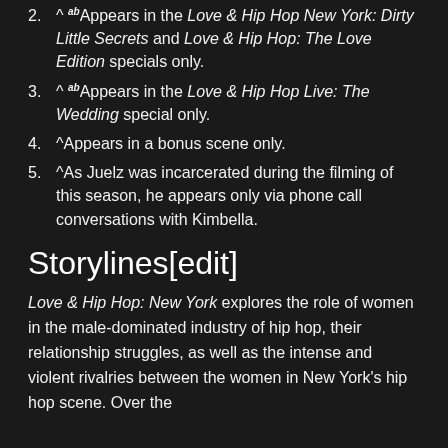^ ab Appears in the Love & Hip Hop New York: Dirty Little Secrets and Love & Hip Hop: The Love Edition specials only.
^ ab Appears in the Love & Hip Hop Live: The Wedding special only.
^ Appears in a bonus scene only.
^ As Juelz was incarcerated during the filming of this season, he appears only via phone call conversations with Kimbella.
Storylines[edit]
Love & Hip Hop: New York explores the role of women in the male-dominated industry of hip hop, their relationship struggles, as well as the intense and violent rivalries between the women in New York's hip hop scene. Over the